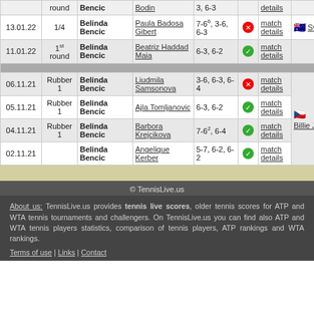| Date | Round | Winner | Loser | Score |  | Details | Tournament |
| --- | --- | --- | --- | --- | --- | --- | --- |
| 13.01.22 | 1/4 | Belinda Bencic | Paula Badosa Gibert | 7-6⁶, 3-6, 6-3 | ❌ | match details | Sydney |
| 11.01.22 | 1st round | Belinda Bencic | Beatriz Haddad Maia | 6-3, 6-2 | ✓ | match details |  |
| 06.11.21 | Rubber 1 | Belinda Bencic | Liudmila Samsonova | 3-6, 6-3, 6-4 | ❌ | match details | Billie Jean |
| 05.11.21 | Rubber 1 | Belinda Bencic | Ajla Tomljanovic | 6-3, 6-2 | ✓ | match details |  |
| 04.11.21 | Rubber 1 | Belinda Bencic | Barbora Krejcikova | 7-6², 6-4 | ✓ | match details |  |
| 02.11.21 |  | Belinda Bencic | Angelique Kerber | 5-7, 6-2, 6-2 | ✓ | match details |  |
© TennisLive.us
About us: TennisLive.us provides tennis live scores, older tennis scores for ATP and WTA tennis tournaments and challengers. On TennisLive.us you can find also ATP and WTA tennis players statistics, comparison of tennis players, ATP rankings and WTA rankings.
Terms of use | Links | Contact